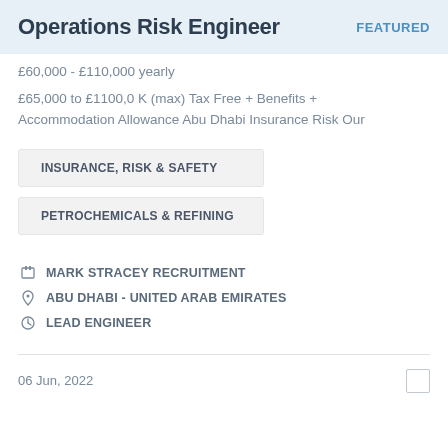Operations Risk Engineer
FEATURED
£60,000 - £110,000 yearly
£65,000 to £1100,0 K (max) Tax Free + Benefits + Accommodation Allowance Abu Dhabi Insurance Risk Our
INSURANCE, RISK & SAFETY
PETROCHEMICALS & REFINING
MARK STRACEY RECRUITMENT
ABU DHABI - UNITED ARAB EMIRATES
LEAD ENGINEER
06 Jun, 2022